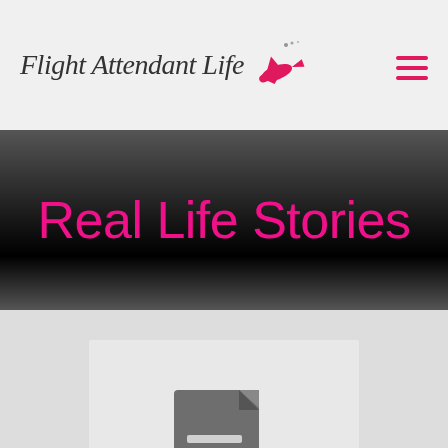Flight Attendant Life [logo with airplane icon] [hamburger menu]
Real Life Stories
[Figure (illustration): Gray document/file icon with lines representing text, on a light gray card background, set against a darker gray page background]